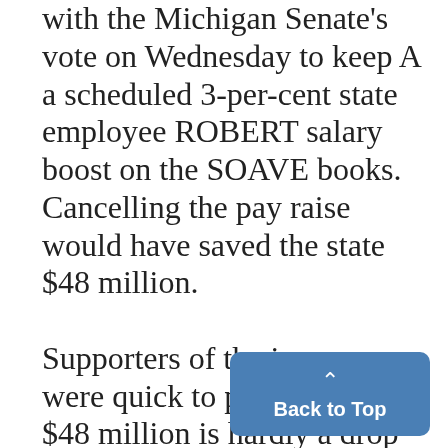with the Michigan Senate's vote on Wednesday to keep A a scheduled 3-per-cent state employee ROBERT salary boost on the SOAVE books. Cancelling the pay raise would have saved the state $48 million. Supporters of the increase were quick to point out that $48 million is hardly a drop in the bucket in t of Michigan's multi-billion dolla
[Figure (other): Blue 'Back to Top' button with upward caret arrow in bottom-right corner]